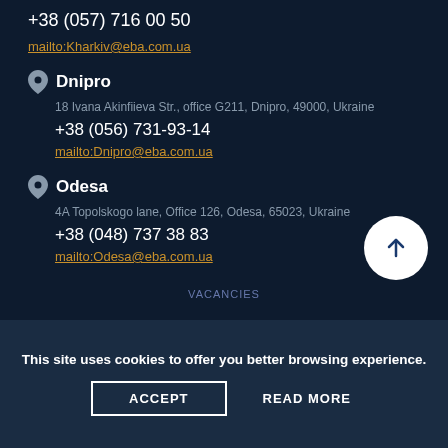+38 (057) 716 00 50
mailto:Kharkiv@eba.com.ua
Dnipro
18 Ivana Akinfiieva Str., office G211, Dnipro, 49000, Ukraine
+38 (056) 731-93-14
mailto:Dnipro@eba.com.ua
Odesa
4A Topolskogo lane, Office 126, Odesa, 65023, Ukraine
+38 (048) 737 38 83
mailto:Odesa@eba.com.ua
VACANCIES
This site uses cookies to offer you better browsing experience.
ACCEPT
READ MORE